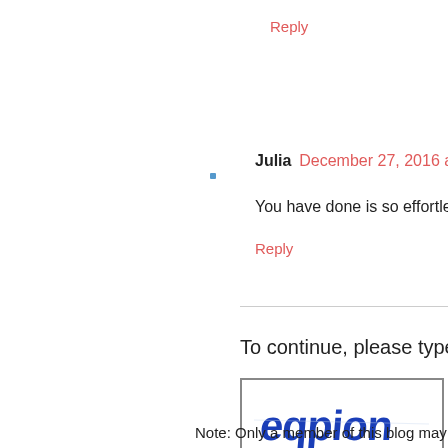Reply
Julia  December 27, 2016 at 6:2
You have done is so effortlessly
Reply
[Figure (other): CAPTCHA image with distorted blue text reading 'eqpion' on white background, inside a bordered rectangle]
To continue, please type th
Note: Only a member of this blog may p